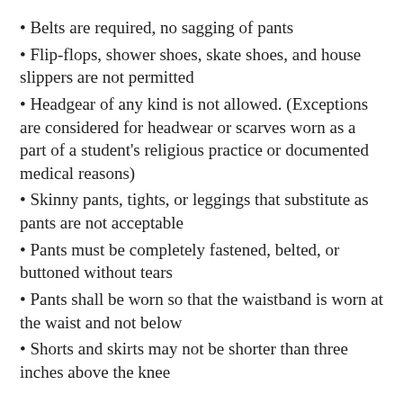Belts are required, no sagging of pants
Flip-flops, shower shoes, skate shoes, and house slippers are not permitted
Headgear of any kind is not allowed. (Exceptions are considered for headwear or scarves worn as a part of a student's religious practice or documented medical reasons)
Skinny pants, tights, or leggings that substitute as pants are not acceptable
Pants must be completely fastened, belted, or buttoned without tears
Pants shall be worn so that the waistband is worn at the waist and not below
Shorts and skirts may not be shorter than three inches above the knee
Designs, Emblems and Lettering: